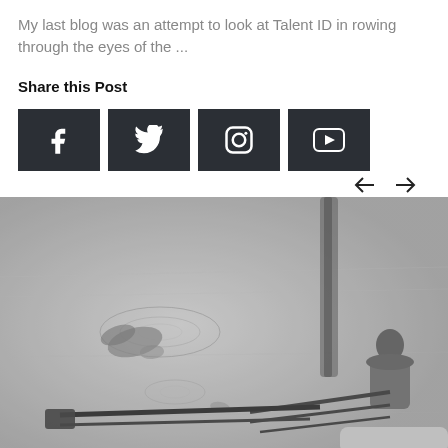My last blog was an attempt to look at Talent ID in rowing through the eyes of the ...
Share this Post
[Figure (infographic): Four social media share buttons: Facebook, Twitter, Instagram, YouTube]
[Figure (photo): Black and white aerial photo of a rower in a sculling boat on water with ripples and oars visible]